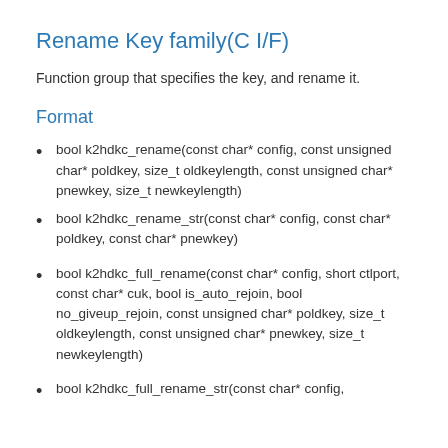Rename Key family(C I/F)
Function group that specifies the key, and rename it.
Format
bool k2hdkc_rename(const char* config, const unsigned char* poldkey, size_t oldkeylength, const unsigned char* pnewkey, size_t newkeylength)
bool k2hdkc_rename_str(const char* config, const char* poldkey, const char* pnewkey)
bool k2hdkc_full_rename(const char* config, short ctlport, const char* cuk, bool is_auto_rejoin, bool no_giveup_rejoin, const unsigned char* poldkey, size_t oldkeylength, const unsigned char char* pnewkey, size_t newkeylength)
bool k2hdkc_full_rename_str(const char* config,